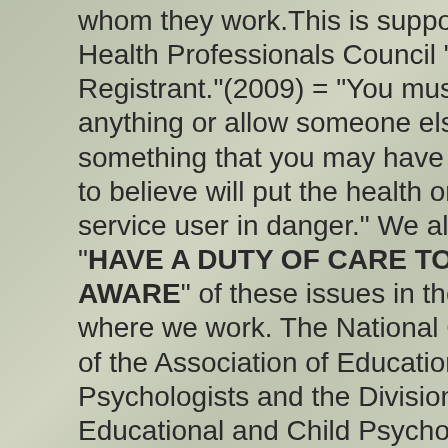whom they work.This is supported by the Health Professionals Council "Duties as a Registrant."(2009) = "You must not do anything or allow someone else to do something that you may have good reason to believe will put the health or safety of a service user in danger." We all therefore : "HAVE A DUTY OF CARE TO BE AWARE" of these issues in the schools where we work. The National Committees of the Association of Educational Psychologists and the Division od Educational and Child Psychology(A Division of the B.P.S.) actively support raising concern about THE IMPACT OF PSYCHOTROPIC DRUGS ON THE SAFEGUARDING OF CHILDREN. LET'S LIMIT DSM5 in the U.K. "When deceit is so universal, telling the truth is revolutionary,"George Orwell.